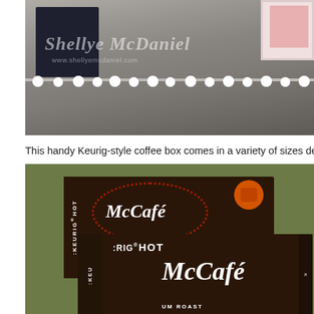[Figure (photo): Photo of a decorative Keurig-style coffee box on a wooden surface with white pom-pom garland and a framed picture in background. Watermark reads 'Shellye McDaniel' and 'www.shellyemcdaniel.com'.]
This handy Keurig-style coffee box comes in a variety of sizes depending o...
[Figure (photo): Photo of McCafe Keurig HOT coffee boxes stacked on a surface with olive-green background. Boxes show 'KEURIG HOT' and 'McCafé' branding in white text on dark brown packaging.]